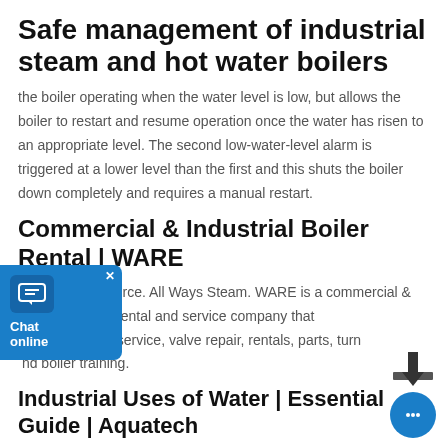Safe management of industrial steam and hot water boilers
the boiler operating when the water level is low, but allows the boiler to restart and resume operation once the water has risen to an appropriate level. The second low-water-level alarm is triggered at a lower level than the first and this shuts the boiler down completely and requires a manual restart.
Commercial & Industrial Boiler Rental | WARE
Ware is your source. All Ways Steam. WARE is a commercial & industrial boiler rental and service company that specializes in sales, service, valve repair, rentals, parts, turn and boiler training.
Industrial Uses of Water | Essential Guide | Aquatech
An effective boiler feed water treatment system works both removing harmful impurities prior to entering the